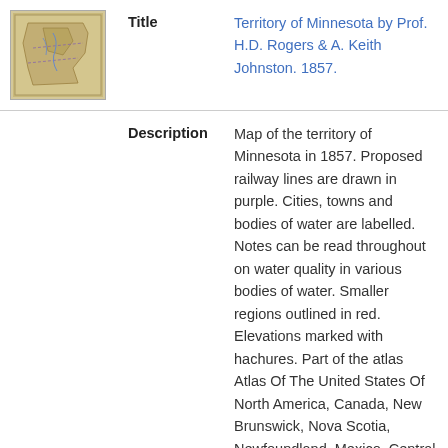[Figure (map): Small thumbnail image of a historical map of the Territory of Minnesota, 1857, with a sepia/aged appearance.]
Title
Territory of Minnesota by Prof. H.D. Rogers & A. Keith Johnston. 1857.
Description
Map of the territory of Minnesota in 1857. Proposed railway lines are drawn in purple. Cities, towns and bodies of water are labelled. Notes can be read throughout on water quality in various bodies of water. Smaller regions outlined in red. Elevations marked with hachures. Part of the atlas Atlas Of The United States Of North America, Canada, New Brunswick, Nova Scotia, Newfoundland, Mexico, Central America, Cuba, And Jamaica. On A Uniform Scale. From The Most Recent State Documents, Marine Surveys, And Unpublished Materials. With Plans Of The Principal Cities And Sea-Ports, And An Introductory Essay On The